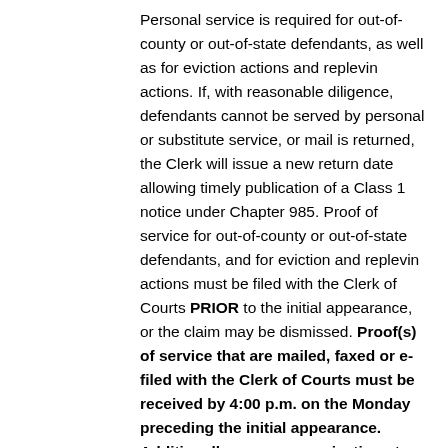Personal service is required for out-of-county or out-of-state defendants, as well as for eviction actions and replevin actions. If, with reasonable diligence, defendants cannot be served by personal or substitute service, or mail is returned, the Clerk will issue a new return date allowing timely publication of a Class 1 notice under Chapter 985. Proof of service for out-of-county or out-of-state defendants, and for eviction and replevin actions must be filed with the Clerk of Courts PRIOR to the initial appearance, or the claim may be dismissed. Proof(s) of service that are mailed, faxed or e-filed with the Clerk of Courts must be received by 4:00 p.m. on the Monday preceding the initial appearance. Additionally, any communications to the Court must be received by 4:00 p.m. on the Monday preceding the initial appearance.